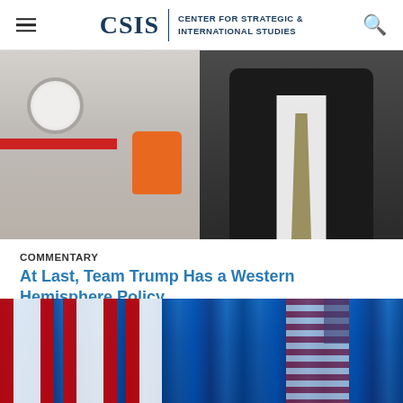CSIS | CENTER FOR STRATEGIC & INTERNATIONAL STUDIES
[Figure (photo): Split photo: left side shows airplane interior with seat back, circular window, red strip and orange safety device; right side shows a man in a dark suit with light-colored tie.]
COMMENTARY
At Last, Team Trump Has a Western Hemisphere Policy
February 9, 2018
The Tillerson version of the Trump administration policy is engaging the region with essentially the same core principles as previous administrations, both Republican and Democrat.
[Figure (photo): Bottom photo showing Canadian flags (red and white maple leaf flags) alongside American and other national flags draped as curtains against a blue background.]